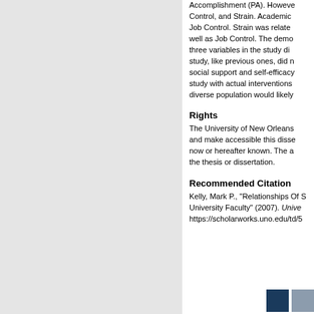Accomplishment (PA). However, Control, and Strain. Academic Job Control. Strain was related well as Job Control. The demo three variables in the study did study, like previous ones, did r social support and self-efficacy study with actual interventions diverse population would likely
Rights
The University of New Orleans and make accessible this disse now or hereafter known. The a the thesis or dissertation.
Recommended Citation
Kelly, Mark P., "Relationships Of S University Faculty" (2007). Unive https://scholarworks.uno.edu/td/5